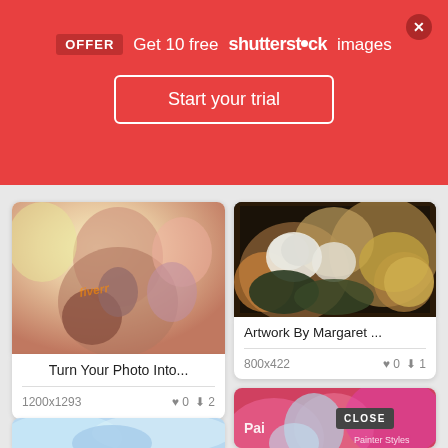[Figure (screenshot): Shutterstock promotional banner with red background, OFFER badge, Get 10 free shutterstock images text, Start your trial button, and X close button]
[Figure (photo): Fiver watermarked painting-style photo of a man holding a dog, colorful splatter art style]
Turn Your Photo Into...
1200x1293   ♥ 0   ⬇ 2
[Figure (photo): Dark painting of flowers and rocks, artwork thumbnail with dark border frame]
Artwork By Margaret ...
800x422   ♥ 0   ⬇ 1
[Figure (photo): Partial card showing colorful pink and orange painted illustration, Painter Styles label, CLOSE button overlay]
[Figure (photo): Partial bottom-left card showing blue watercolor style image]